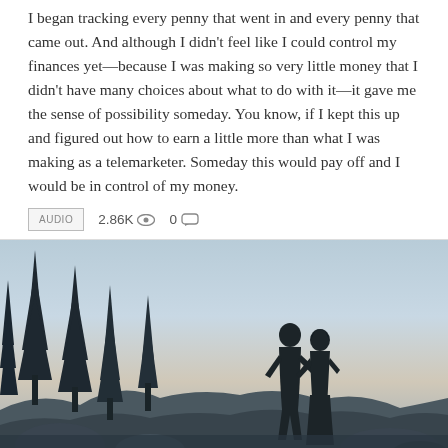I began tracking every penny that went in and every penny that came out. And although I didn't feel like I could control my finances yet—because I was making so very little money that I didn't have many choices about what to do with it—it gave me the sense of possibility someday. You know, if I kept this up and figured out how to earn a little more than what I was making as a telemarketer. Someday this would pay off and I would be in control of my money.
[Figure (photo): Silhouette of a couple standing on rocky terrain at dusk, surrounded by tall pine trees on the left, with a gradient sky of blues and warm tones in the background.]